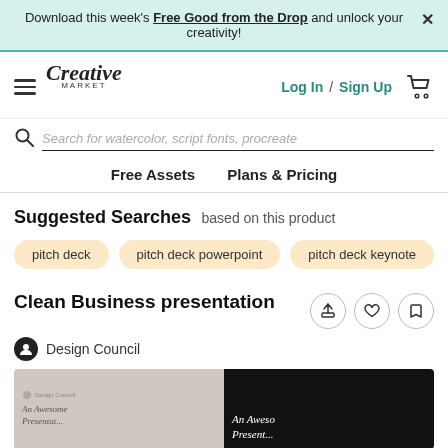Download this week's Free Good from the Drop and unlock your creativity!
[Figure (screenshot): Creative Market navigation bar with hamburger menu, logo, Log In / Sign Up links, and cart icon]
Search for watercolor, script fonts, procreate
Free Assets
Plans & Pricing
Suggested Searches based on this product
pitch deck
pitch deck powerpoint
pitch deck keynote
Clean Business presentation
Design Council
[Figure (photo): Product preview showing two presentation slides: a light grey slide with italic text 'An Awesome Presentat...' and a dark black slide with white italic text 'An Aweso Present...']